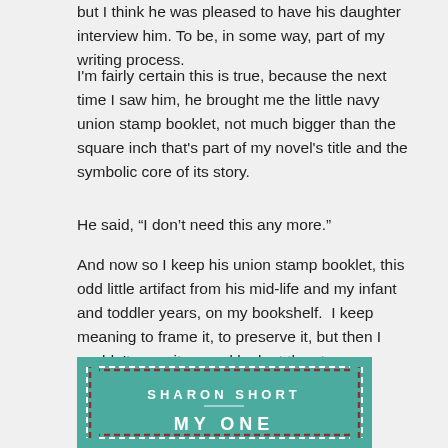but I think he was pleased to have his daughter interview him. To be, in some way, part of my writing process.
I'm fairly certain this is true, because the next time I saw him, he brought me the little navy union stamp booklet, not much bigger than the square inch that's part of my novel's title and the symbolic core of its story.
He said, “I don’t need this any more.”
And now so I keep his union stamp booklet, this odd little artifact from his mid-life and my infant and toddler years, on my bookshelf.  I keep meaning to frame it, to preserve it, but then I couldn’t open it up and look at the stamps.
[Figure (illustration): Book cover with teal background showing 'SHARON SHORT' and 'MY ONE' in white and decorative dashed border]